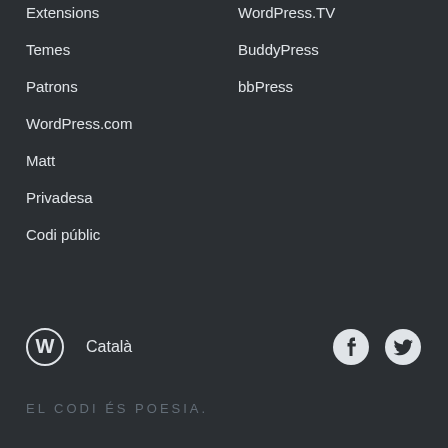Extensions
WordPress.TV
Temes
BuddyPress
Patrons
bbPress
WordPress.com
Matt
Privadesa
Codi públic
WordPress logo  Català  Facebook  Twitter
EL CODI ÉS POESIA.